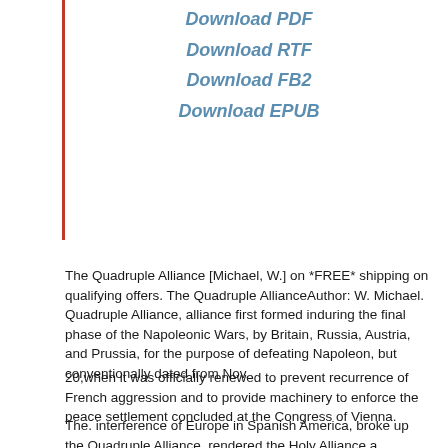Download PDF
Download RTF
Download FB2
Download EPUB
The Quadruple Alliance [Michael, W.] on *FREE* shipping on qualifying offers. The Quadruple AllianceAuthor: W. Michael. Quadruple Alliance, alliance first formed induring the final phase of the Napoleonic Wars, by Britain, Russia, Austria, and Prussia, for the purpose of defeating Napoleon, but conventionally dated from Nov.
20,when it was officially renewed to prevent recurrence of French aggression and to provide machinery to enforce the peace settlement concluded at the Congress of Vienna.
The. interference of Europe in Spanish America, broke up the Quadruple Alliance, rendered the Holy Alliance a shadow, and restored a balance of power that was not unfavorable to England from abroad to abroad